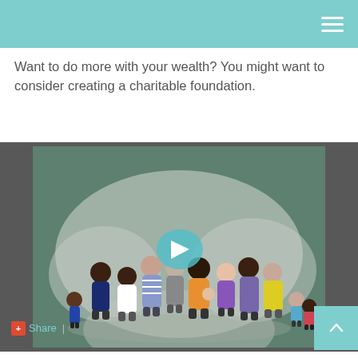Want to do more with your wealth? You might want to consider creating a charitable foundation.
[Figure (illustration): Animated video thumbnail showing a diverse group of illustrated people (adults and children of various ethnicities) standing together against a teal/green background with cloud shapes, with a play button overlay in the center.]
Share |